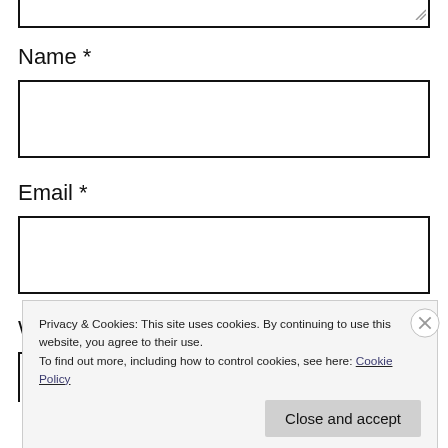[Figure (screenshot): Top portion of a textarea input field (bottom portion visible, with resize handle in bottom-right corner)]
Name *
[Figure (screenshot): Empty text input field for Name]
Email *
[Figure (screenshot): Empty text input field for Email]
W
[Figure (screenshot): Partial view of a text input field (website)]
Privacy & Cookies: This site uses cookies. By continuing to use this website, you agree to their use.
To find out more, including how to control cookies, see here: Cookie Policy
Close and accept